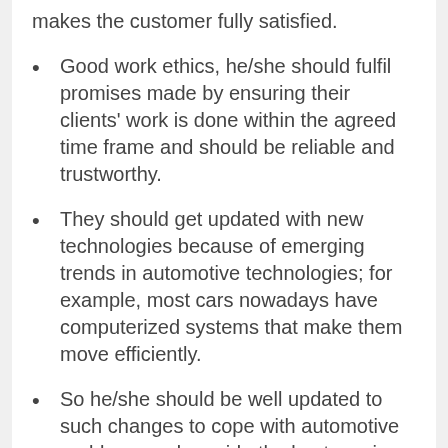makes the customer fully satisfied.
Good work ethics, he/she should fulfil promises made by ensuring their clients' work is done within the agreed time frame and should be reliable and trustworthy.
They should get updated with new technologies because of emerging trends in automotive technologies; for example, most cars nowadays have computerized systems that make them move efficiently.
So he/she should be well updated to such changes to cope with automotive problems and provide the best services to their clients with no difficulties.
They should be certified; hiring a qualified and well-trained mechanic gives you